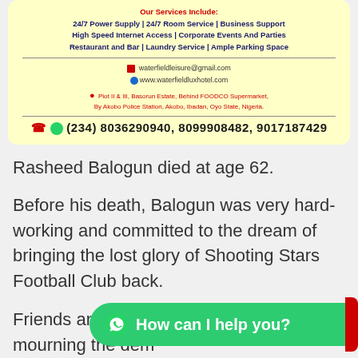[Figure (other): Hotel advertisement box with yellow background showing services, contact details, address and phone numbers for Waterfield Lux Hotel]
Rasheed Balogun died at age 62.
Before his death, Balogun was very hard-working and committed to the dream of bringing the lost glory of Shooting Stars Football Club back.
Friends and family members have been mourning the dem... manager.